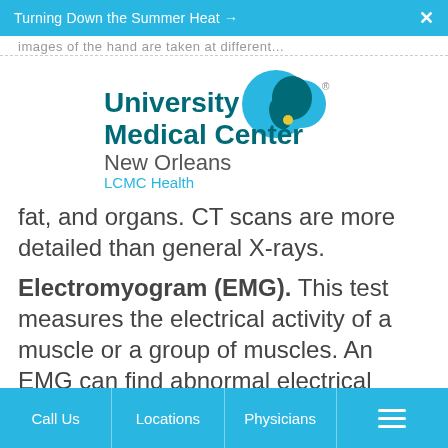Turning Down the Summer Heat →
images of the hand are taken at different...
[Figure (logo): University Medical Center New Orleans LCMC Health logo with teal and dark teal heart shapes]
fat, and organs. CT scans are more detailed than general X-rays.
Electromyogram (EMG). This test measures the electrical activity of a muscle or a group of muscles. An EMG can find abnormal electrical muscle...
Call Us | Locations | Physicians | ☰